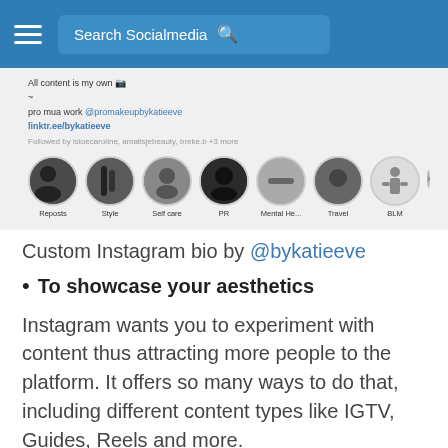Search Socialmedia
[Figure (screenshot): Instagram profile screenshot showing bio text, pro mua work @promakeupbykatieeve link, followed by istoecaroline, amatisjebeauty, breke.b +3 more, and story highlights: Reposts, Style, Self care, PR, Mental He..., Travel, BLM]
Custom Instagram bio by @bykatieeve
To showcase your aesthetics
Instagram wants you to experiment with content thus attracting more people to the platform. It offers so many ways to do that, including different content types like IGTV, Guides, Reels and more.